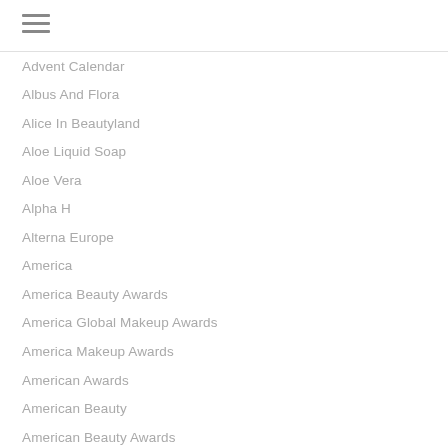≡
Advent Calendar
Albus And Flora
Alice In Beautyland
Aloe Liquid Soap
Aloe Vera
Alpha H
Alterna Europe
America
America Beauty Awards
America Global Makeup Awards
America Makeup Awards
American Awards
American Beauty
American Beauty Awards
American Beauty Brands
American Global Makeup Awards
American Makeup Awards
Amway